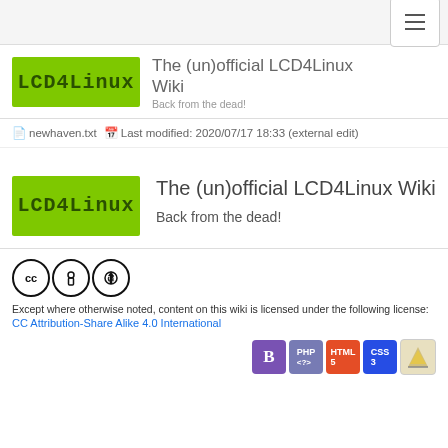The (un)official LCD4Linux Wiki — Back from the dead!
newhaven.txt  Last modified: 2020/07/17 18:33 (external edit)
The (un)official LCD4Linux Wiki
Back from the dead!
Except where otherwise noted, content on this wiki is licensed under the following license: CC Attribution-Share Alike 4.0 International